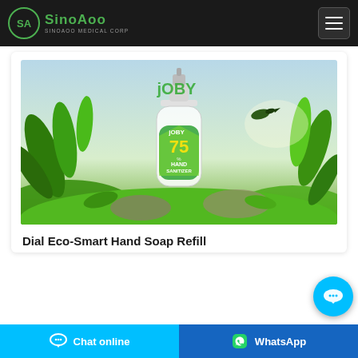SinoAoo - SinoAoo Medical Corp
[Figure (photo): Product photo of JOBY 75% Hand Sanitizer pump bottle surrounded by green tropical leaves and plants with a hummingbird, sky background]
Dial Eco-Smart Hand Soap Refill
Chat online
WhatsApp